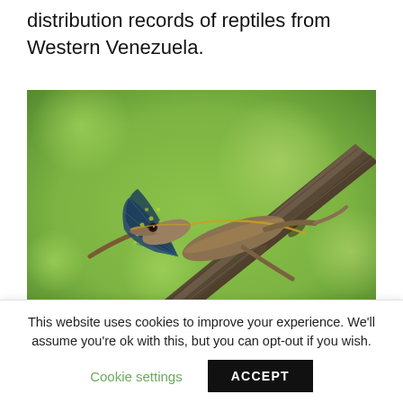distribution records of reptiles from Western Venezuela.
[Figure (photo): A lizard (anole) with a colorful blue-green dewlap extended, clinging to a branch against a green background.]
This website uses cookies to improve your experience. We'll assume you're ok with this, but you can opt-out if you wish.
Cookie settings   ACCEPT